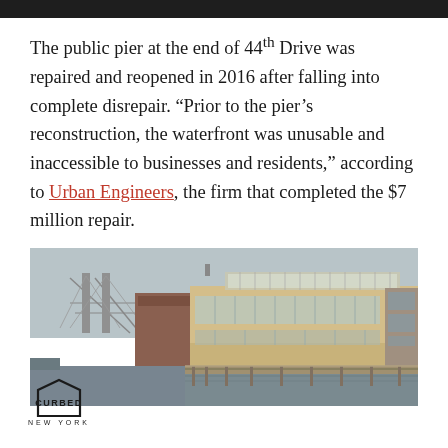[Figure (photo): Top partial strip of a dark photo (cropped top of previous image)]
The public pier at the end of 44th Drive was repaired and reopened in 2016 after falling into complete disrepair. “Prior to the pier’s reconstruction, the waterfront was unusable and inaccessible to businesses and residents,” according to Urban Engineers, the firm that completed the $7 million repair.
[Figure (photo): Photograph of a large tan/yellow industrial waterfront building with greenhouse/glass roof structure, viewed from across water. A bridge is visible in the background on the left side.]
[Figure (logo): Curbed New York logo — a hexagonal house-shape outline containing the word CURBED, with NEW YORK below]